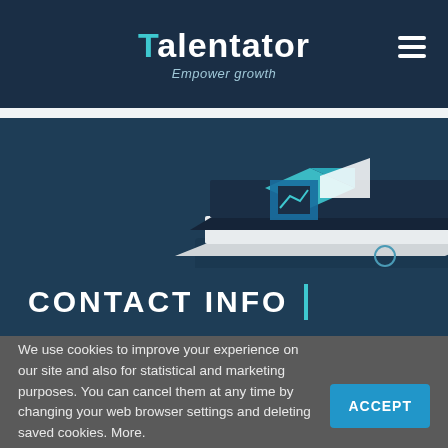Talentator — Empower growth
[Figure (illustration): Isometric illustration of a book with geometric shapes, a graph/chart element, and a green leaf on a dark teal background with decorative circles]
CONTACT INFO |
We use cookies to improve your experience on our site and also for statistical and marketing purposes. You can cancel them at any time by changing your web browser settings and deleting saved cookies. More.
ACCEPT